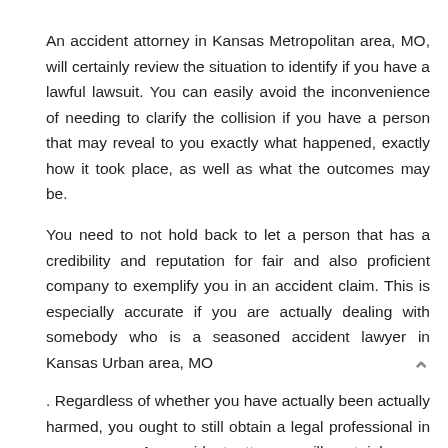An accident attorney in Kansas Metropolitan area, MO, will certainly review the situation to identify if you have a lawful lawsuit. You can easily avoid the inconvenience of needing to clarify the collision if you have a person that may reveal to you exactly what happened, exactly how it took place, as well as what the outcomes may be.
You need to not hold back to let a person that has a credibility and reputation for fair and also proficient company to exemplify you in an accident claim. This is especially accurate if you are actually dealing with somebody who is a seasoned accident lawyer in Kansas Urban area, MO
. Regardless of whether you have actually been actually harmed, you ought to still obtain a legal professional in your corner. An accident attorney will certainly cure something